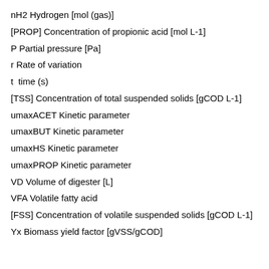nH2 Hydrogen [mol (gas)]
[PROP] Concentration of propionic acid [mol L-1]
P Partial pressure [Pa]
r Rate of variation
t  time (s)
[TSS] Concentration of total suspended solids [gCOD L-1]
umaxACET Kinetic parameter
umaxBUT Kinetic parameter
umaxHS Kinetic parameter
umaxPROP Kinetic parameter
VD Volume of digester [L]
VFA Volatile fatty acid
[FSS] Concentration of volatile suspended solids [gCOD L-1]
Yx Biomass yield factor [gVSS/gCOD]